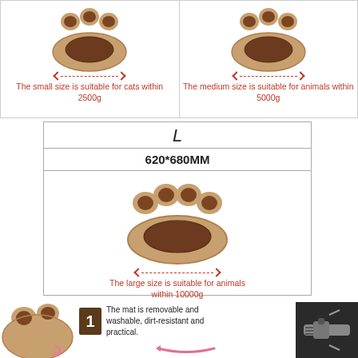[Figure (photo): Small pet bed in paw shape, brown/tan color, viewed from above at slight angle]
The small size is suitable for cats within 2500g
[Figure (photo): Medium pet bed in paw shape, brown/tan color, viewed from above at slight angle]
The medium size is suitable for animals within 5000g
| L | 620*680MM |
| --- | --- |
[Figure (photo): Large pet bed in paw shape, brown/tan color, viewed from above at slight angle]
The large size is suitable for animals within 10000g
[Figure (photo): Bottom section showing pet bed from side, zipper close-up, and pink arrows indicating removable mat feature]
The mat is removable and washable, dirt-resistant and practical.